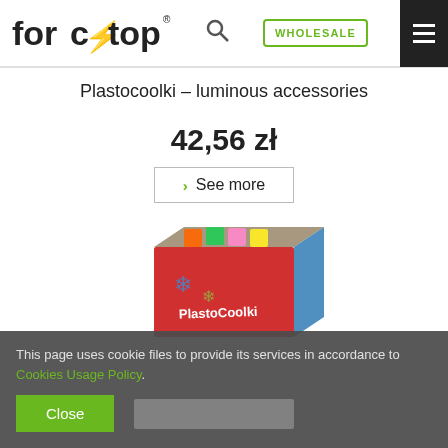forcetop® [search] WHOLESALE [menu]
Plastocoolki – luminous accessories
42,56 zł
See more
[Figure (photo): A box of Plastocoolki luminous accessories product packaging with colorful neon chalk-like accessories visible]
This page uses cookie files to provide its services in accordance to Cookies Usage Policy. Close